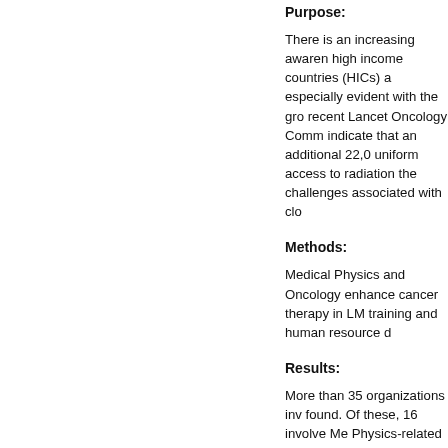Purpose:
There is an increasing awareness high income countries (HICs) a especially evident with the gro recent Lancet Oncology Comm indicate that an additional 22,0 uniform access to radiation the challenges associated with clo
Methods:
Medical Physics and Oncology enhance cancer therapy in LM training and human resource d
Results:
More than 35 organizations inv found. Of these, 16 involve Me Physics-related organizations. having a major emphasis on LI
Conclusions: